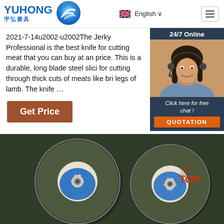[Figure (logo): Yuhong abrasives logo with blue wave icon and Chinese characters 宇弘磨具]
English ∨
2021-7-14u2002·u2002The Jerky Professional is the best knife for cutting meat that you can buy at an price. This is a durable, long blade steel slicing for cutting through thick cuts of meats like bri legs of lamb. The knife …
[Figure (photo): 24/7 Online chat widget showing a female customer service agent wearing headset, with 'Click here for free chat!' text and QUOTATION button]
Get Price
[Figure (photo): Two abrasive cutting discs / grinding wheels with blue and teal labels]